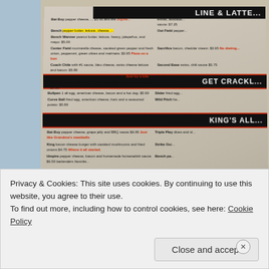[Figure (photo): A photograph of a restaurant menu (baseball-themed) showing sections including 'GET CRACKIN' and 'KING'S ALL' with various sandwich/burger items listed with descriptions and prices. Menu items include Bat Boy, Bench, Bench Warmer, Center Field, Coach Chile, Dugout, Fly Ball, Bullpen, Curve Ball, Slider, Wild Pitch, King, Umpire, Triple Play, Strike Out, Bench. Some items have red promotional text links.]
Privacy & Cookies: This site uses cookies. By continuing to use this website, you agree to their use.
To find out more, including how to control cookies, see here: Cookie Policy
Close and accept